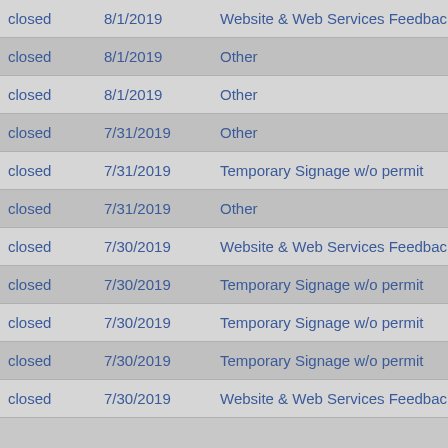| closed | 8/1/2019 | Website & Web Services Feedback |
| closed | 8/1/2019 | Other |
| closed | 8/1/2019 | Other |
| closed | 7/31/2019 | Other |
| closed | 7/31/2019 | Temporary Signage w/o permit |
| closed | 7/31/2019 | Other |
| closed | 7/30/2019 | Website & Web Services Feedback |
| closed | 7/30/2019 | Temporary Signage w/o permit |
| closed | 7/30/2019 | Temporary Signage w/o permit |
| closed | 7/30/2019 | Temporary Signage w/o permit |
| closed | 7/30/2019 | Website & Web Services Feedback |